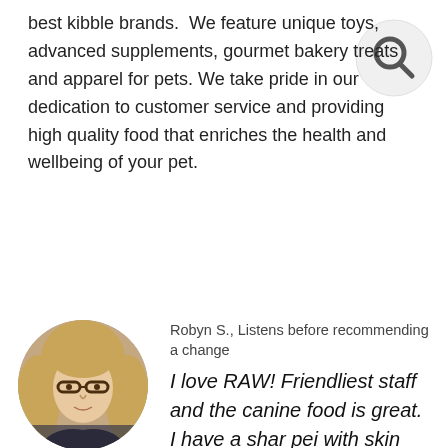best kibble brands. We feature unique toys, advanced supplements, gourmet bakery treats and apparel for pets. We take pride in our dedication to customer service and providing high quality food that enriches the health and wellbeing of your pet.
[Figure (other): Search icon - circular magnifying glass icon in the top right corner]
[Figure (photo): Circular profile photo of a woman with blonde hair and glasses]
Robyn S., Listens before recommending a change
I love RAW! Friendliest staff and the canine food is great. I have a shar pei with skin allergies and she has been on a high quality kibble diet for six weeks. Her coat and skin look 10 times better than when she was on another (quite expensive) brand of food. I'm so impressed and I will never go elsewhere for